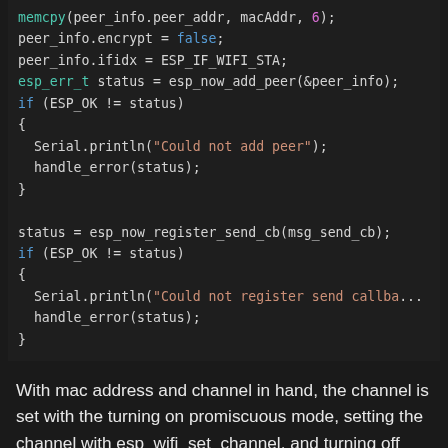[Figure (screenshot): Code snippet showing ESP-NOW peer setup and send callback registration in C/Arduino style, dark theme code editor]
With mac address and channel in hand, the channel is set with the turning on promiscuous mode, setting the channel with esp_wifi_set_channel, and turning off promiscuous mode. The target address of the base station is configured as a peer to be used as a target for the ESP NOW transmission.